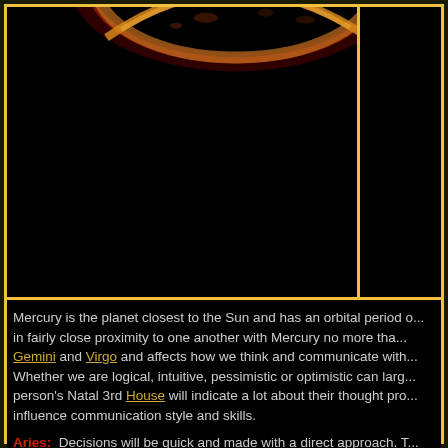[Figure (photo): Planet Mercury image against black background, showing a crescent/partial view of the planet's reddish-golden surface at the top of a dark panel]
Mercury is the planet closest to the Sun and has an orbital period o... in fairly close proximity to one another with Mercury no more tha... Gemini and Virgo and affects how we think and communicate with... Whether we are logical, intuitive, pessimistic or optimistic can larg... person's Natal 3rd House will indicate a lot about their thought pro... influence communication style and skills.
Aries: Decisions will be quick and made with a direct approach. T...